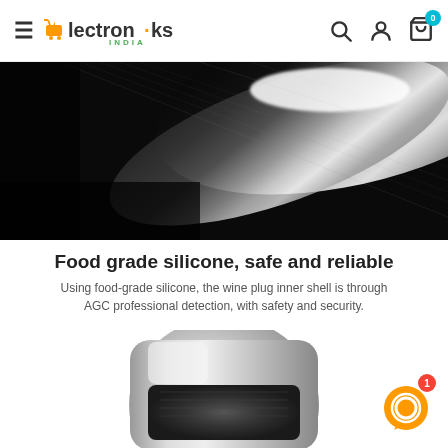Electroniks India — navigation header with hamburger menu, logo, search, account, and cart (0 items)
[Figure (photo): Close-up black and white photo of a brushed stainless steel surface with dramatic lighting highlighting the metallic texture.]
Food grade silicone, safe and reliable
Using food-grade silicone, the wine plug inner shell is through AGC professional detection, with safety and security.
[Figure (photo): Close-up photo of a cylindrical stainless steel wine stopper/plug with a black silicone inner ring, shown from above on a white background. A chat bubble icon with badge number 1 is overlaid in the bottom right.]